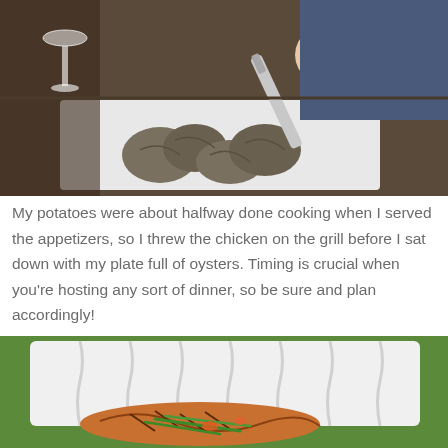[Figure (photo): Person shucking oysters on a white cutting board, with a wine glass visible in the background.]
My potatoes were about halfway done cooking when I served the appetizers, so I threw the chicken on the grill before I sat down with my plate full of oysters. Timing is crucial when you’re hosting any sort of dinner, so be sure and plan accordingly!
[Figure (photo): Close-up of a white ceramic ridged baking dish with grilled chicken and vegetables, green grass visible in the background.]